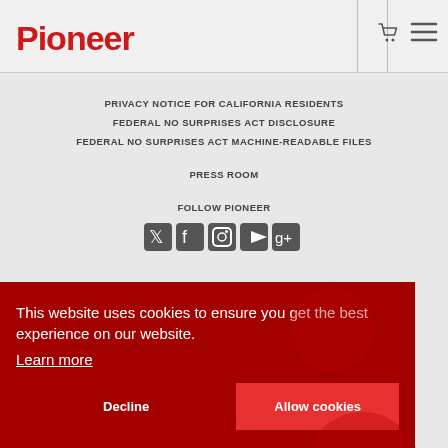[Figure (logo): Pioneer logo in red on light gray header bar]
PRIVACY NOTICE FOR CALIFORNIA RESIDENTS
FEDERAL NO SURPRISES ACT DISCLOSURE
FEDERAL NO SURPRISES ACT MACHINE-READABLE FILES
PRESS ROOM
FOLLOW PIONEER
[Figure (infographic): Social media icons: Twitter, Facebook, Instagram, YouTube, Google+]
This website uses cookies to ensure you get the best experience on our website. Learn more
Decline
Allow cookies